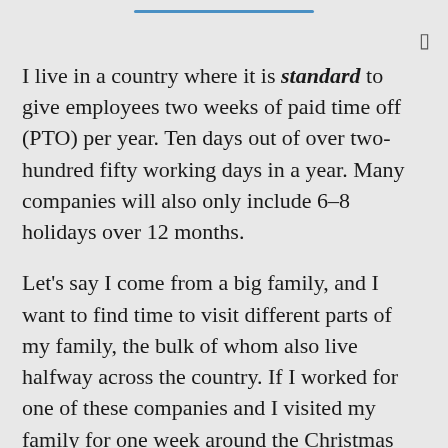I live in a country where it is standard to give employees two weeks of paid time off (PTO) per year. Ten days out of over two-hundred fifty working days in a year. Many companies will also only include 6–8 holidays over 12 months.
Let's say I come from a big family, and I want to find time to visit different parts of my family, the bulk of whom also live halfway across the country. If I worked for one of these companies and I visited my family for one week around the Christmas holiday—about 1–2 days per section of my big family—I could get away with taking only 4 PTO days. Now, imagine that my partner